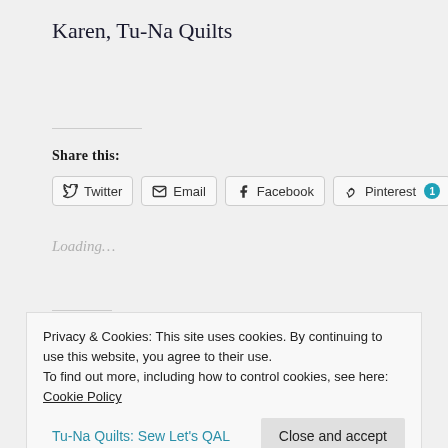Karen, Tu-Na Quilts
Share this:
Twitter | Email | Facebook | Pinterest 1
Loading...
Privacy & Cookies: This site uses cookies. By continuing to use this website, you agree to their use.
To find out more, including how to control cookies, see here: Cookie Policy
Close and accept
Tu-Na Quilts: Sew Let's QAL